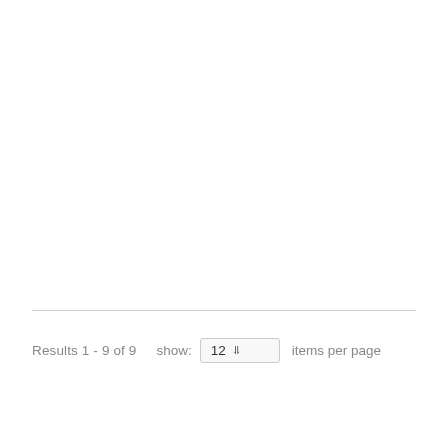Results 1 - 9 of 9    show:  12  items per page